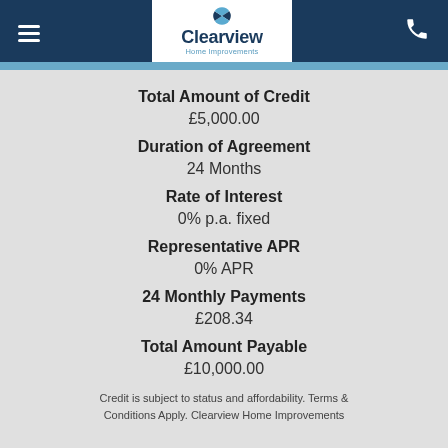Clearview Home Improvements
Total Amount of Credit
£5,000.00
Duration of Agreement
24 Months
Rate of Interest
0% p.a. fixed
Representative APR
0% APR
24 Monthly Payments
£208.34
Total Amount Payable
£10,000.00
Credit is subject to status and affordability. Terms & Conditions Apply. Clearview Home Improvements